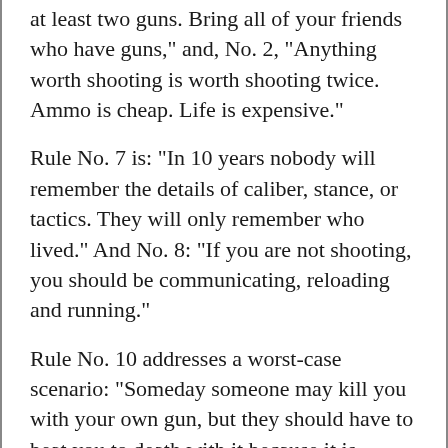at least two guns. Bring all of your friends who have guns," and, No. 2, "Anything worth shooting is worth shooting twice. Ammo is cheap. Life is expensive."
Rule No. 7 is: "In 10 years nobody will remember the details of caliber, stance, or tactics. They will only remember who lived." And No. 8: "If you are not shooting, you should be communicating, reloading and running."
Rule No. 10 addresses a worst-case scenario: "Someday someone may kill you with your own gun, but they should have to beat you to death with it because it is empty." And No. 11: "Always cheat; always win. The only unfair fight is the one you lose."